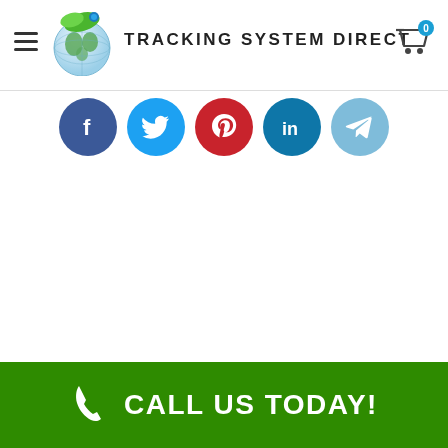[Figure (logo): Tracking System Direct website header with globe logo, brand name 'Tracking System Direct', hamburger menu icon, and shopping cart icon with badge '0']
[Figure (infographic): Row of five social media share buttons: Facebook (dark blue), Twitter (light blue), Pinterest (red), LinkedIn (blue), Telegram (light blue)]
CALL US TODAY!